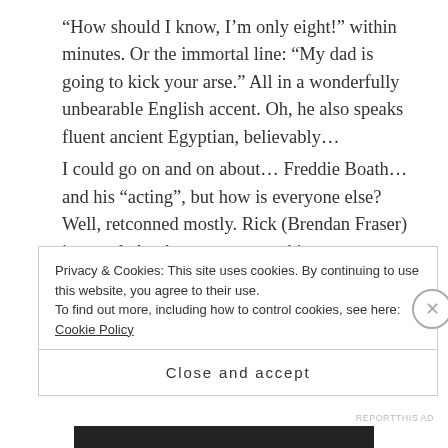“How should I know, I’m only eight!” within minutes. Or the immortal line: “My dad is going to kick your arse.” All in a wonderfully unbearable English accent. Oh, he also speaks fluent ancient Egyptian, believably…
I could go on and on about… Freddie Boath… and his “acting”, but how is everyone else? Well, retconned mostly. Rick (Brendan Fraser) is revealed to have a tattoo on his arm no one noticed before that means he is of an ancient line of magi, protectors of the world. Or something, it is briefly explained between scenes of
Privacy & Cookies: This site uses cookies. By continuing to use this website, you agree to their use.
To find out more, including how to control cookies, see here: Cookie Policy
Close and accept